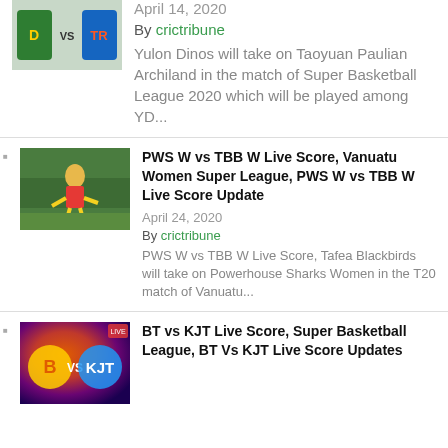[Figure (screenshot): Top partial article thumbnail showing sports matchup graphic with 'D vs TR' text]
April 14, 2020
By crictribune
Yulon Dinos will take on Taoyuan Paulian Archiland in the match of Super Basketball League 2020 which will be played among YD...
[Figure (photo): Cricket/sports player in green and yellow uniform fielding on a grass pitch]
PWS W vs TBB W Live Score, Vanuatu Women Super League, PWS W vs TBB W Live Score Update
April 24, 2020
By crictribune
PWS W vs TBB W Live Score, Tafea Blackbirds will take on Powerhouse Sharks Women in the T20 match of Vanuatu...
[Figure (screenshot): Basketball game graphic with colorful team logos and VS text, purple and orange tones]
BT vs KJT Live Score, Super Basketball League, BT Vs KJT Live Score Updates